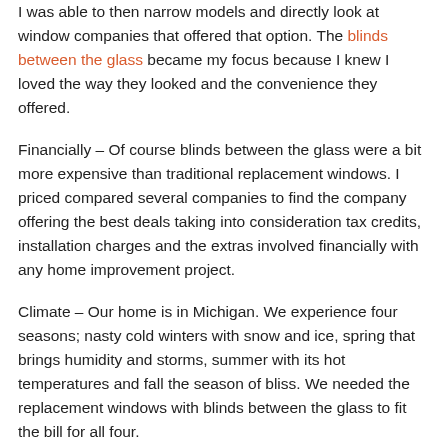I was able to then narrow models and directly look at window companies that offered that option. The blinds between the glass became my focus because I knew I loved the way they looked and the convenience they offered.
Financially – Of course blinds between the glass were a bit more expensive than traditional replacement windows. I priced compared several companies to find the company offering the best deals taking into consideration tax credits, installation charges and the extras involved financially with any home improvement project.
Climate – Our home is in Michigan. We experience four seasons; nasty cold winters with snow and ice, spring that brings humidity and storms, summer with its hot temperatures and fall the season of bliss. We needed the replacement windows with blinds between the glass to fit the bill for all four.
Current Construction – I did not want to make changes to the window sizes so they replacement windows with blinds between